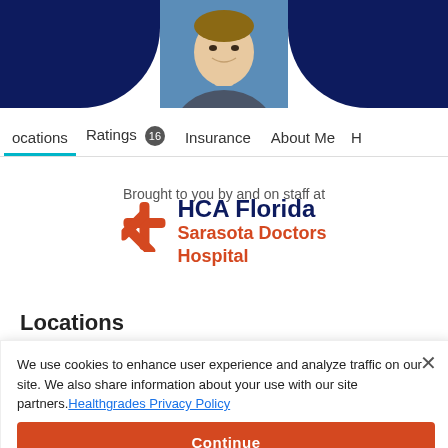[Figure (photo): Doctor headshot photo centered with dark navy blue background arcs on left and right sides]
Locations  Ratings 16  Insurance  About Me  H
Brought to you by and on staff at
[Figure (logo): HCA Florida Sarasota Doctors Hospital logo with orange cross/asterisk icon and dark blue and orange text]
Locations
[Figure (map): Partial Google Map showing location pins]
We use cookies to enhance user experience and analyze traffic on our site. We also share information about your use with our site partners. Healthgrades Privacy Policy
Continue
Access my Privacy